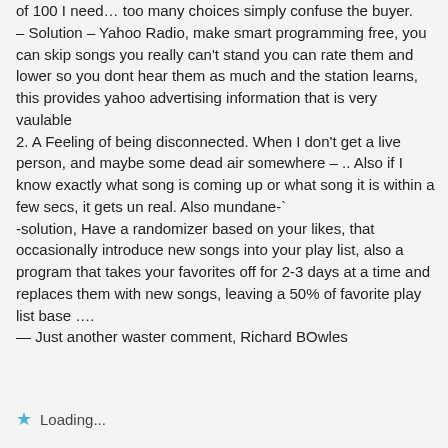of 100 I need… too many choices simply confuse the buyer.
– Solution – Yahoo Radio, make smart programming free, you can skip songs you really can't stand you can rate them and lower so you dont hear them as much and the station learns, this provides yahoo advertising information that is very vaulable
2. A Feeling of being disconnected. When I don't get a live person, and maybe some dead air somewhere – .. Also if I know exactly what song is coming up or what song it is within a few secs, it gets un real. Also mundane-`
-solution, Have a randomizer based on your likes, that occasionally introduce new songs into your play list, also a program that takes your favorites off for 2-3 days at a time and replaces them with new songs, leaving a 50% of favorite play list base ….
— Just another waster comment, Richard BOwles
Loading...